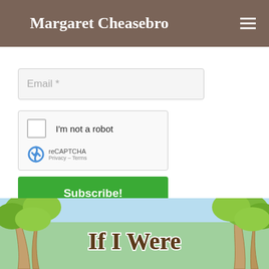Margaret Cheasebro
Email *
[Figure (other): reCAPTCHA widget with checkbox labeled I'm not a robot, reCAPTCHA logo, Privacy and Terms links]
Subscribe!
[Figure (illustration): Children's book cover illustration showing trees with text 'If I Were']